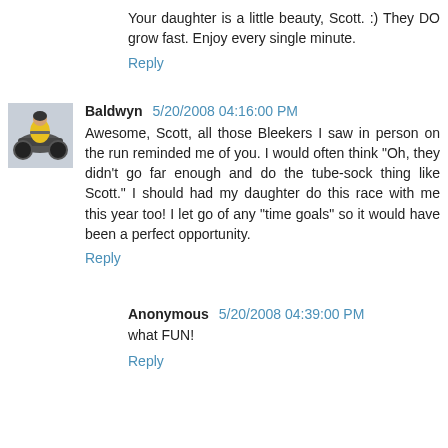Your daughter is a little beauty, Scott. :) They DO grow fast. Enjoy every single minute.
Reply
Baldwyn 5/20/2008 04:16:00 PM
Awesome, Scott, all those Bleekers I saw in person on the run reminded me of you. I would often think "Oh, they didn't go far enough and do the tube-sock thing like Scott." I should had my daughter do this race with me this year too! I let go of any "time goals" so it would have been a perfect opportunity.
Reply
Anonymous 5/20/2008 04:39:00 PM
what FUN!
Reply